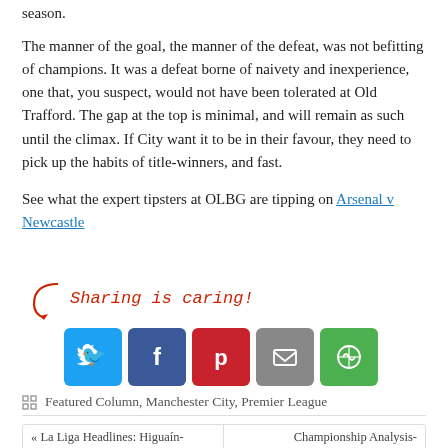season.
The manner of the goal, the manner of the defeat, was not befitting of champions. It was a defeat borne of naivety and inexperience, one that, you suspect, would not have been tolerated at Old Trafford. The gap at the top is minimal, and will remain as such until the climax. If City want it to be in their favour, they need to pick up the habits of title-winners, and fast.
See what the expert tipsters at OLBG are tipping on Arsenal v Newcastle
[Figure (infographic): Sharing is caring! social sharing section with Twitter, Facebook, Pinterest, Email, and More buttons]
Featured Column, Manchester City, Premier League
« La Liga Headlines: Higuaín-
Championship Analysis-